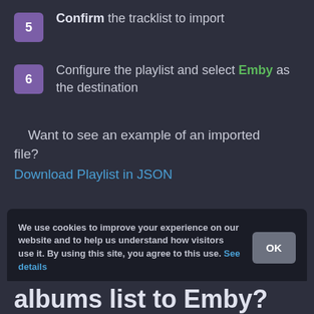5 Confirm the tracklist to import
6 Configure the playlist and select Emby as the destination
Want to see an example of an imported file?
Download Playlist in JSON
We use cookies to improve your experience on our website and to help us understand how visitors use it. By using this site, you agree to this use. See details
albums list to Emby?